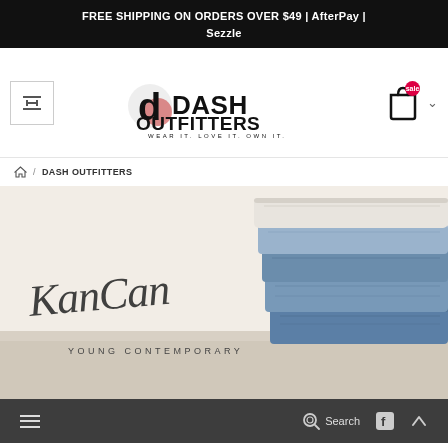FREE SHIPPING ON ORDERS OVER $49 | AfterPay | Sezzle
[Figure (logo): Dash Outfitters logo with stylized 'do' graphic and tagline WEAR IT. LOVE IT. OWN IT.]
🏠 / DASH OUTFITTERS
[Figure (photo): KanCan Young Contemporary brand banner with stacked folded jeans on the right side and KanCan signature script logo with YOUNG CONTEMPORARY text on a wooden surface background]
≡  Search  f  ∧